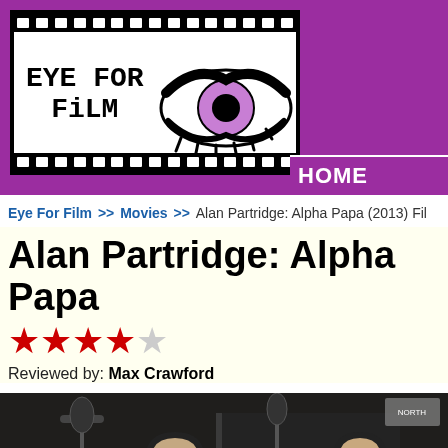[Figure (logo): Eye For Film website logo — film strip border with stylized eye illustration and 'EYE FOR FILM' text, on purple background]
HOME
Eye For Film >> Movies >> Alan Partridge: Alpha Papa (2013) Film
Alan Partridge: Alpha Papa
★★★★☆ (4 out of 5 stars)
Reviewed by: Max Crawford
[Figure (photo): Two men in a radio studio with microphones and headphones — a scene from Alan Partridge: Alpha Papa (2013)]